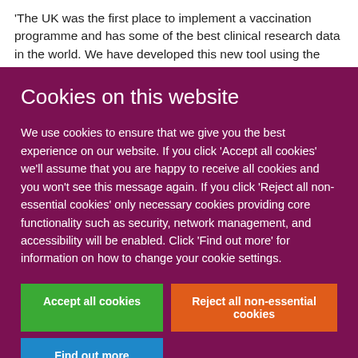'The UK was the first place to implement a vaccination programme and has some of the best clinical research data in the world. We have developed this new tool using the
Cookies on this website
We use cookies to ensure that we give you the best experience on our website. If you click 'Accept all cookies' we'll assume that you are happy to receive all cookies and you won't see this message again. If you click 'Reject all non-essential cookies' only necessary cookies providing core functionality such as security, network management, and accessibility will be enabled. Click 'Find out more' for information on how to change your cookie settings.
Accept all cookies
Reject all non-essential cookies
Find out more